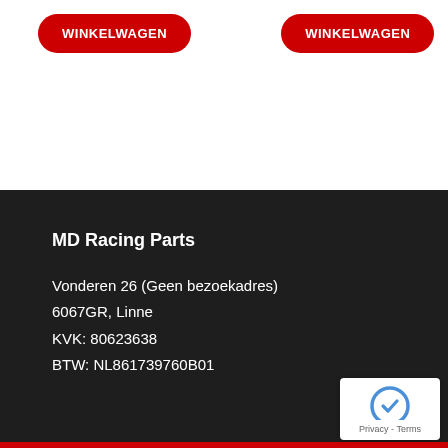[Figure (other): Two red rounded rectangle buttons labeled WINKELWAGEN side by side on white background]
MD Racing Parts
Vonderen 26 (Geen bezoekadres)
6067GR, Linne
KVK: 80623638
BTW: NL861739760B01